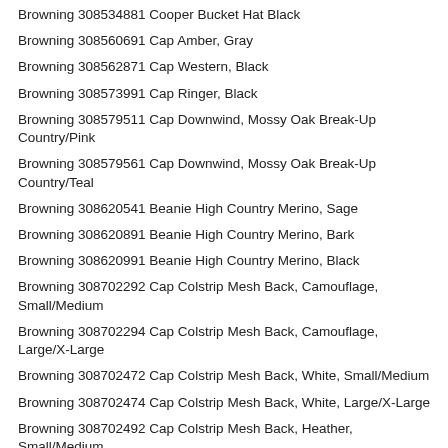Browning 308534881 Cooper Bucket Hat Black
Browning 308560691 Cap Amber, Gray
Browning 308562871 Cap Western, Black
Browning 308573991 Cap Ringer, Black
Browning 308579511 Cap Downwind, Mossy Oak Break-Up Country/Pink
Browning 308579561 Cap Downwind, Mossy Oak Break-Up Country/Teal
Browning 308620541 Beanie High Country Merino, Sage
Browning 308620891 Beanie High Country Merino, Bark
Browning 308620991 Beanie High Country Merino, Black
Browning 308702292 Cap Colstrip Mesh Back, Camouflage, Small/Medium
Browning 308702294 Cap Colstrip Mesh Back, Camouflage, Large/X-Large
Browning 308702472 Cap Colstrip Mesh Back, White, Small/Medium
Browning 308702474 Cap Colstrip Mesh Back, White, Large/X-Large
Browning 308702492 Cap Colstrip Mesh Back, Heather, Small/Medium